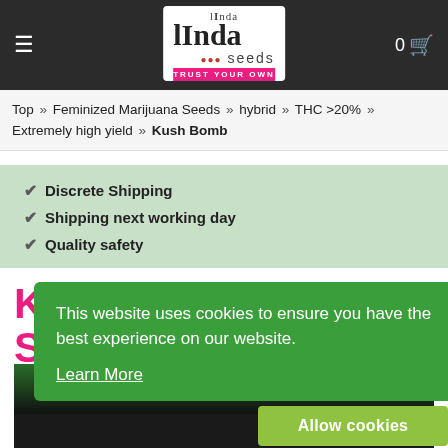Linda Seeds – TRUST YOUR OWN
Top » Feminized Marijuana Seeds » hybrid » THC >20% » Extremely high yield » Kush Bomb
✔ Discrete Shipping
✔ Shipping next working day
✔ Quality safety
KUSH BOMB STRAIN
This website uses cookies to ensure you have the best experience on our website.
Learn More
Allow cookies